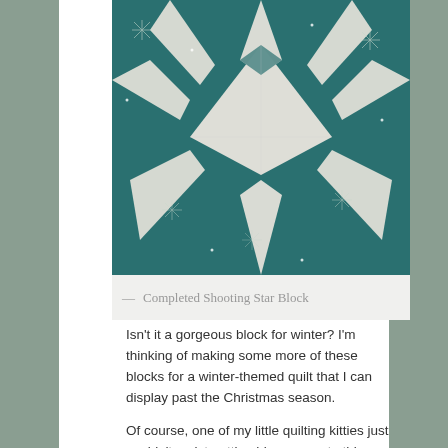[Figure (photo): Close-up photo of a completed Shooting Star quilt block made with teal/dark blue fabric printed with white snowflakes, and white/cream star-shaped piecing forming a large star pattern.]
— Completed Shooting Star Block
Isn't it a gorgeous block for winter? I'm thinking of making some more of these blocks for a winter-themed quilt that I can display past the Christmas season.
Of course, one of my little quilting kitties just couldn't resist getting his paws onto this block. Perhaps I should